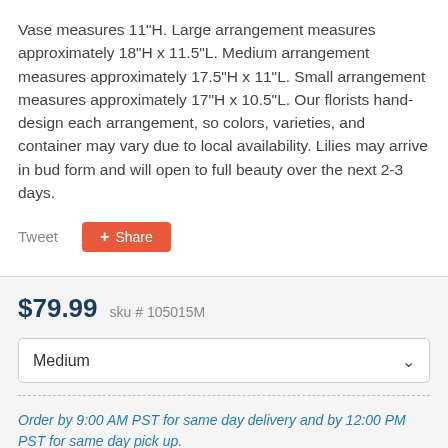Vase measures 11"H. Large arrangement measures approximately 18"H x 11.5"L. Medium arrangement measures approximately 17.5"H x 11"L. Small arrangement measures approximately 17"H x 10.5"L. Our florists hand-design each arrangement, so colors, varieties, and container may vary due to local availability. Lilies may arrive in bud form and will open to full beauty over the next 2-3 days.
Tweet
Share
$79.99  sku # 105015M
Medium
Order by 9:00 AM PST for same day delivery and by 12:00 PM PST for same day pick up.
Delivery or Pickup?
Select an Option...